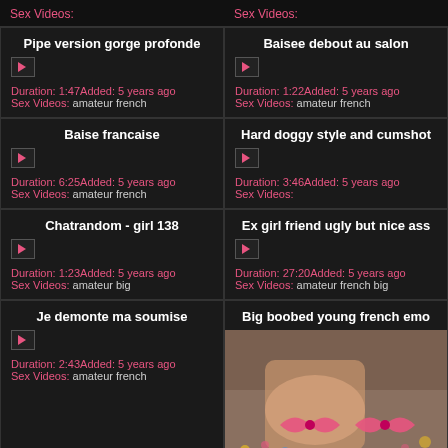Sex Videos:
Sex Videos:
Pipe version gorge profonde
Duration: 1:47 Added: 5 years ago Sex Videos: amateur french
Baisee debout au salon
Duration: 1:22 Added: 5 years ago Sex Videos: amateur french
Baise francaise
Duration: 6:25 Added: 5 years ago Sex Videos: amateur french
Hard doggy style and cumshot
Duration: 3:46 Added: 5 years ago Sex Videos:
Chatrandom - girl 138
Duration: 1:23 Added: 5 years ago Sex Videos: amateur big
Ex girl friend ugly but nice ass
Duration: 27:20 Added: 5 years ago Sex Videos: amateur french big
Je demonte ma soumise
Duration: 2:43 Added: 5 years ago Sex Videos: amateur french
Big boobed young french emo
[Figure (photo): Photo of person with tattoos on thighs]